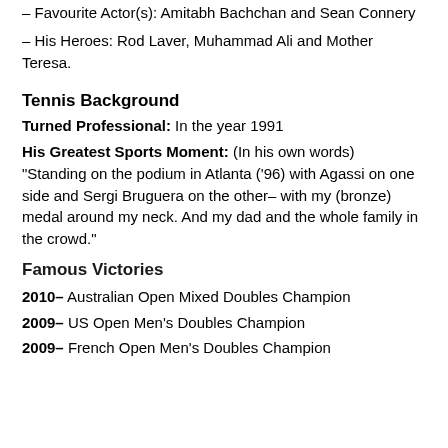– Favourite Actor(s): Amitabh Bachchan and Sean Connery
– His Heroes: Rod Laver, Muhammad Ali and Mother Teresa.
Tennis Background
Turned Professional: In the year 1991
His Greatest Sports Moment: (In his own words) "Standing on the podium in Atlanta ('96) with Agassi on one side and Sergi Bruguera on the other– with my (bronze) medal around my neck. And my dad and the whole family in the crowd."
Famous Victories
2010– Australian Open Mixed Doubles Champion
2009– US Open Men's Doubles Champion
2009– French Open Men's Doubles Champion